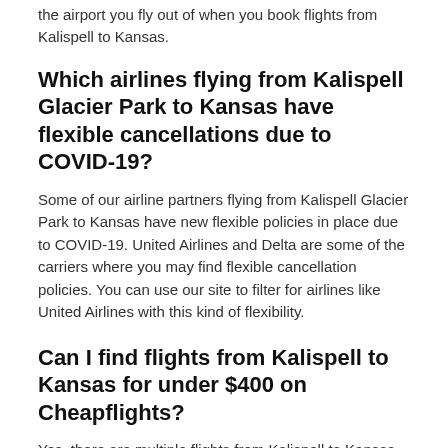the airport you fly out of when you book flights from Kalispell to Kansas.
Which airlines flying from Kalispell Glacier Park to Kansas have flexible cancellations due to COVID-19?
Some of our airline partners flying from Kalispell Glacier Park to Kansas have new flexible policies in place due to COVID-19. United Airlines and Delta are some of the carriers where you may find flexible cancellation policies. You can use our site to filter for airlines like United Airlines with this kind of flexibility.
Can I find flights from Kalispell to Kansas for under $400 on Cheapflights?
Yes, there are multiple flights from Kalispell to Kansas for under $400. The cheapest flight booked recently is on Delta for just $400, but on average you can expect to pay $653.
What are the cheapest airlines to fly from